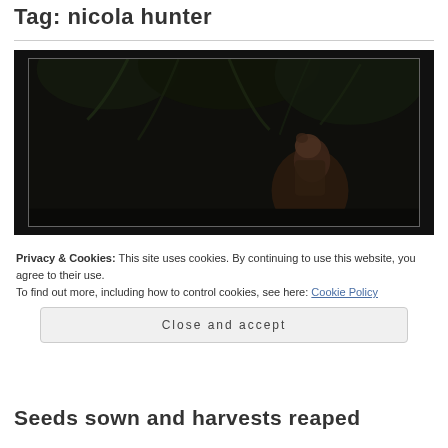Tag: nicola hunter
[Figure (photo): Dark atmospheric photo of a tattooed man with a bun hairstyle sitting against a dark background with dark foliage overhead, framed by a thin white border]
Privacy & Cookies: This site uses cookies. By continuing to use this website, you agree to their use.
To find out more, including how to control cookies, see here: Cookie Policy
Close and accept
Seeds sown and harvests reaped